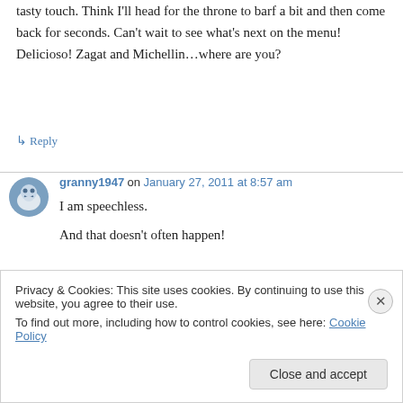tasty touch. Think I'll head for the throne to barf a bit and then come back for seconds. Can't wait to see what's next on the menu! Delicioso! Zagat and Michellin…where are you?
↳ Reply
granny1947 on January 27, 2011 at 8:57 am
I am speechless.

And that doesn't often happen!
Privacy & Cookies: This site uses cookies. By continuing to use this website, you agree to their use.
To find out more, including how to control cookies, see here: Cookie Policy
Close and accept